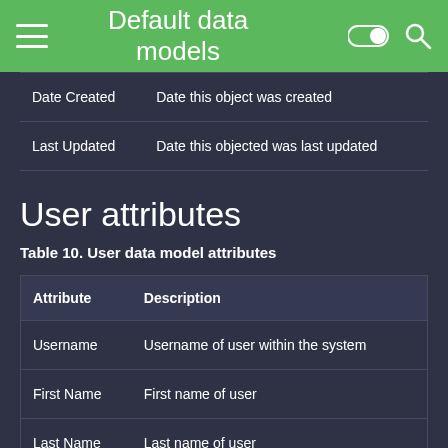Default data models
| Attribute | Description |
| --- | --- |
| Date Created | Date this object was created |
| Last Updated | Date this objected was last updated |
User attributes
Table 10. User data model attributes
| Attribute | Description |
| --- | --- |
| Username | Username of user within the system |
| First Name | First name of user |
| Last Name | Last name of user |